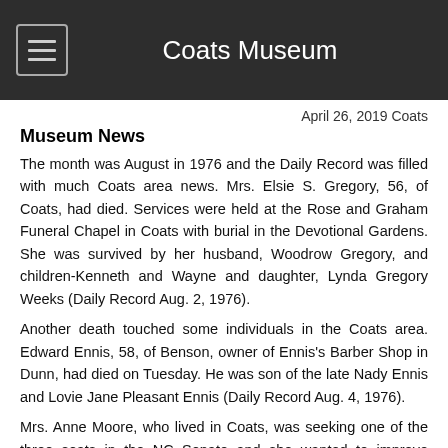Coats Museum
April 26, 2019 Coats Museum News
The month was August in 1976 and the Daily Record was filled with much Coats area news. Mrs. Elsie S. Gregory, 56, of Coats, had died. Services were held at the Rose and Graham Funeral Chapel in Coats with burial in the Devotional Gardens. She was survived by her husband, Woodrow Gregory, and children-Kenneth and Wayne and daughter, Lynda Gregory Weeks (Daily Record Aug. 2, 1976).
Another death touched some individuals in the Coats area. Edward Ennis, 58, of Benson, owner of Ennis's Barber Shop in Dunn, had died on Tuesday. He was son of the late Nady Ennis and Lovie Jane Pleasant Ennis (Daily Record Aug. 4, 1976).
Mrs. Anne Moore, who lived in Coats, was seeking one of the three seats in the NC Senate and she wanted to improve reading and writing skills, to reform public schools, and to give teachers a greater voice (Daily Record Aug. 11, 1976). Many people thought Mrs. Moore was ahead of her time. I do know she will be remembered for having a